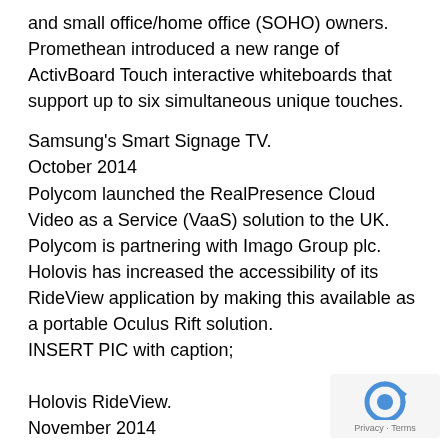and small office/home office (SOHO) owners. Promethean introduced a new range of ActivBoard Touch interactive whiteboards that support up to six simultaneous unique touches.
Samsung's Smart Signage TV.
October 2014
Polycom launched the RealPresence Cloud Video as a Service (VaaS) solution to the UK. Polycom is partnering with Imago Group plc.
Holovis has increased the accessibility of its RideView application by making this available as a portable Oculus Rift solution.
INSERT PIC with caption;
Holovis RideView.
November 2014
Sahara Presentation Systems opened the Clever